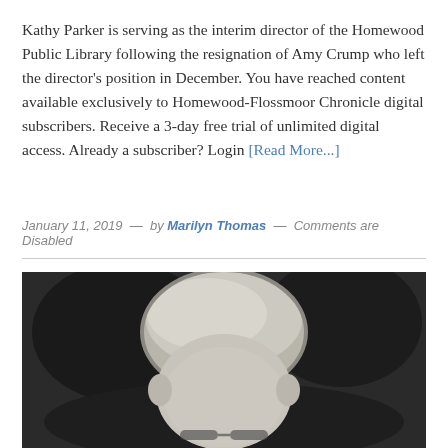Kathy Parker is serving as the interim director of the Homewood Public Library following the resignation of Amy Crump who left the director's position in December. You have reached content available exclusively to Homewood-Flossmoor Chronicle digital subscribers. Receive a 3-day free trial of unlimited digital access. Already a subscriber? Login [Read More...]
January 11, 2019 — by Marilyn Thomas — Comments are Disabled
[Figure (photo): Black and white photograph of a child's head, showing light-colored short hair, cropped at the bottom of the frame against a dark background.]